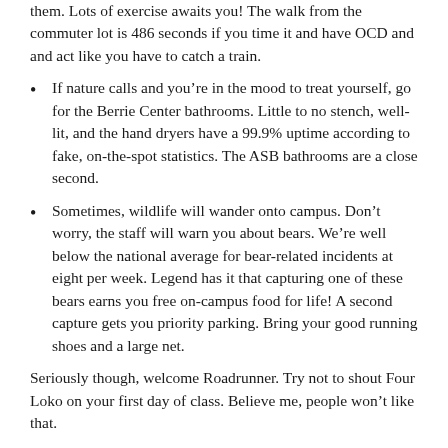them. Lots of exercise awaits you! The walk from the commuter lot is 486 seconds if you time it and have OCD and and act like you have to catch a train.
If nature calls and you’re in the mood to treat yourself, go for the Berrie Center bathrooms. Little to no stench, well-lit, and the hand dryers have a 99.9% uptime according to fake, on-the-spot statistics. The ASB bathrooms are a close second.
Sometimes, wildlife will wander onto campus. Don’t worry, the staff will warn you about bears. We’re well below the national average for bear-related incidents at eight per week. Legend has it that capturing one of these bears earns you free on-campus food for life! A second capture gets you priority parking. Bring your good running shoes and a large net.
Seriously though, welcome Roadrunner. Try not to shout Four Loko on your first day of class. Believe me, people won’t like that.